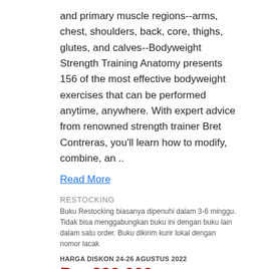and primary muscle regions--arms, chest, shoulders, back, core, thighs, glutes, and calves--Bodyweight Strength Training Anatomy presents 156 of the most effective bodyweight exercises that can be performed anytime, anywhere. With expert advice from renowned strength trainer Bret Contreras, you'll learn how to modify, combine, an ..
Read More
RESTOCKING
Buku Restocking biasanya dipenuhi dalam 3-6 minggu. Tidak bisa menggabungkan buku ini dengan buku lain dalam satu order. Buku dikirim kurir lokal dengan nomor lacak
HARGA DISKON 24-26 AGUSTUS 2022
Rp. 399.000
HARGA HARI INI
Rp. 469.000
Add to My List